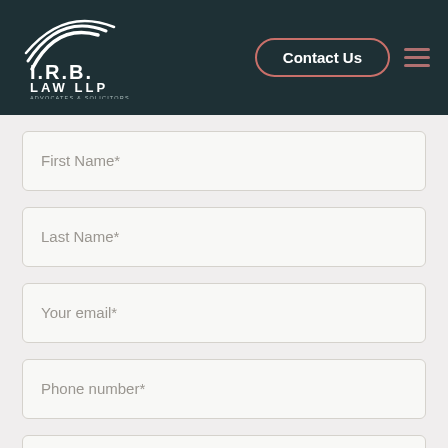[Figure (logo): I.R.B. Law LLP logo with stylized swoosh lines, white text on dark teal background. Subtitle: Advocates & Solicitors]
Contact Us
First Name*
Last Name*
Your email*
Phone number*
What type of concern do you have?